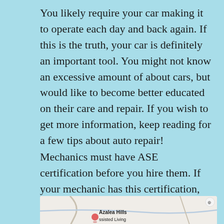You likely require your car making it to operate each day and back again. If this is the truth, your car is definitely an important tool. You might not know an excessive amount of about cars, but would like to become better educated on their care and repair. If you wish to get more information, keep reading for a few tips about auto repair!
Mechanics must have ASE certification before you hire them. If your mechanic has this certification, they then have got an exam where you can the least 24 months experience.
[Figure (map): A partial map showing Azalea Hills Assisted Living location with a location pin marker and road paths on a light beige background]